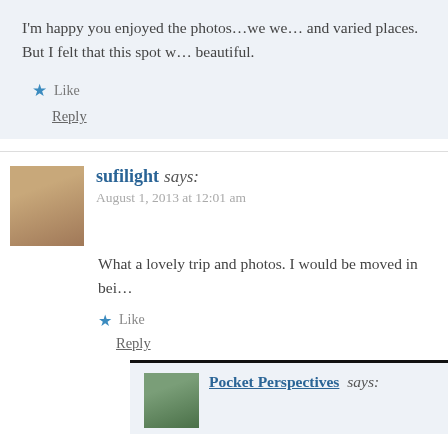I'm happy you enjoyed the photos…we we… and varied places. But I felt that this spot w… beautiful.
Like
Reply
sufilight says:
August 1, 2013 at 12:01 am
What a lovely trip and photos. I would be moved in bei…
Like
Reply
Pocket Perspectives says: